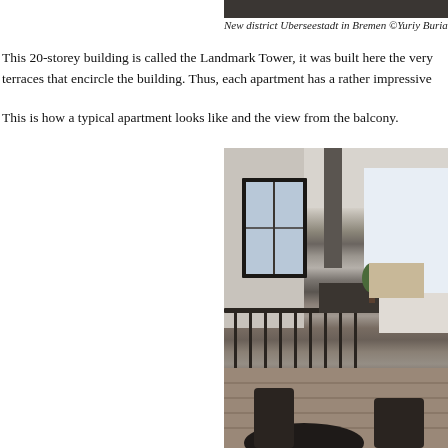[Figure (photo): Interior photo of apartment at top of page, partially cropped]
New district Uberseestadt in Bremen ©Yuriy Buriak
This 20-storey building is called the Landmark Tower, it was built here the very terraces that encircle the building. Thus, each apartment has a rather impressive
This is how a typical apartment looks like and the view from the balcony.
[Figure (photo): Interior photo of a modern apartment showing open plan living/dining area with large windows, balcony railing in foreground, and city view beyond]